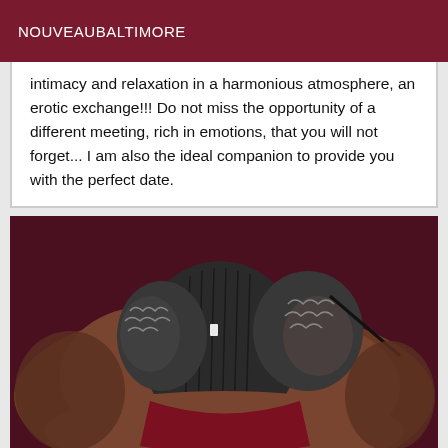NOUVEAUBALTIMORE
intimacy and relaxation in a harmonious atmosphere, an erotic exchange!!! Do not miss the opportunity of a different meeting, rich in emotions, that you will not forget... I am also the ideal companion to provide you with the perfect date.
[Figure (photo): A close-up photo of a person lying down wearing dark ribbed and lace lingerie against a dark red/maroon background]